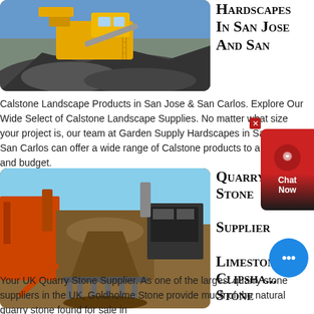[Figure (photo): Yellow heavy mining/quarrying machinery with crushed stone/gravel pile, outdoor setting with blue sky]
Hardscapes In San Jose And San
Calstone Landscape Products in San Jose & San Carlos. Explore Our Wide Select of Calstone Landscape Supplies. No matter what size your project is, our team at Garden Supply Hardscapes in San Jose and San Carlos can offer a wide range of Calstone products to any task and budget.
ge...
[Figure (photo): Orange and brown industrial quarry/mining cone crusher machinery in operation]
Quarry Stone Supplier Limestone & Clipsha... Stone
Your UK Quarry Stone Supplier. As one of the largest quarry stone suppliers in the UK, Goldholme Stone provide much of the natural quarry stone found for sale in